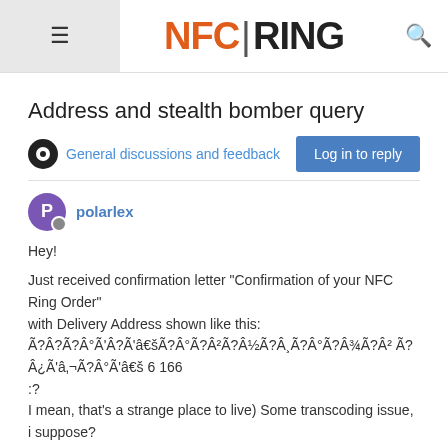NFC RING
Address and stealth bomber query
General discussions and feedback
Log in to reply
polarlex
Hey!

Just received confirmation letter "Confirmation of your NFC Ring Order"
with Delivery Address shown like this:
Ã?Â?Ã?Â°Ã'Â?Ã'â€šÃ?Â°Ã?Â²Ã?Â½Ã?Â¸Ã?Â°Ã?Â¾Ã?Â² Ã?
Â¿Ã'â‚¬Ã?Â°Ã'â€š 6 166
:?
I mean, that's a strange place to live) Some transcoding issue, i suppose?

Could you guys look into it?